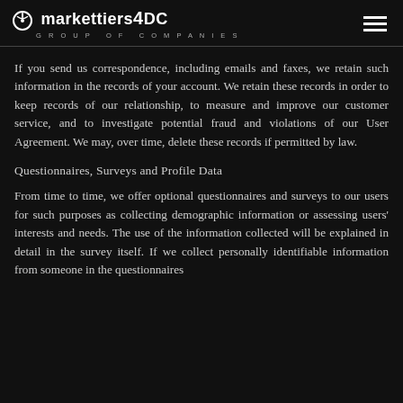markettiers4DC GROUP OF COMPANIES
If you send us correspondence, including emails and faxes, we retain such information in the records of your account. We retain these records in order to keep records of our relationship, to measure and improve our customer service, and to investigate potential fraud and violations of our User Agreement. We may, over time, delete these records if permitted by law.
Questionnaires, Surveys and Profile Data
From time to time, we offer optional questionnaires and surveys to our users for such purposes as collecting demographic information or assessing users' interests and needs. The use of the information collected will be explained in detail in the survey itself. If we collect personally identifiable information from someone in the questionnaires...